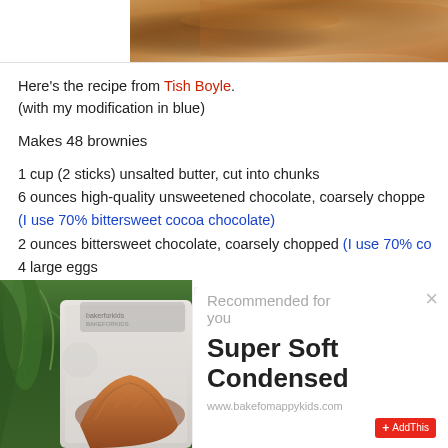[Figure (photo): Top portion of a baked brownie or chocolate item, cropped at top of page]
Here's the recipe from Tish Boyle.
(with my modification in blue)
Makes 48 brownies
1 cup (2 sticks) unsalted butter, cut into chunks
6 ounces high-quality unsweetened chocolate, coarsely chopped
(I use 70% bittersweet cocoa chocolate)
2 ounces bittersweet chocolate, coarsely chopped (I use 70% co…)
4 large eggs
1 3/4 cups granulated sugar
[Figure (photo): Photo of bread loaf with ferns, partially overlaid by recommended content widget]
Recommended for you
Super Soft Condensed
www.bakefomappykids.com
AddThis